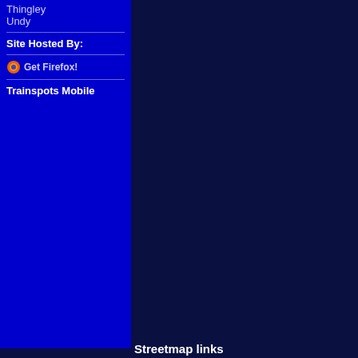Thingley
Undy
Site Hosted By:
[Figure (logo): Get Firefox! badge with small Firefox logo icon]
Trainspots Mobile
Streetmap links
Westerleigh general view map
Westerleigh close up map
Windows Local Live Link - image quality may vary
Westerleigh
Who likes this location on facebook
[Figure (screenshot): Facebook Like and Share buttons with people like this text and Sign Up link]
Railway Gen Group